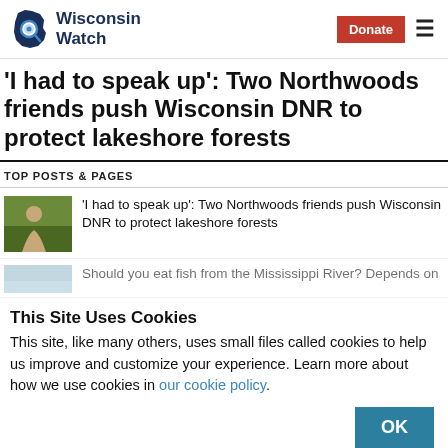Wisconsin Watch | Donate
'I had to speak up': Two Northwoods friends push Wisconsin DNR to protect lakeshore forests
TOP POSTS & PAGES
'I had to speak up': Two Northwoods friends push Wisconsin DNR to protect lakeshore forests
Should you eat fish from the Mississippi River? Depends on
This Site Uses Cookies
This site, like many others, uses small files called cookies to help us improve and customize your experience. Learn more about how we use cookies in our cookie policy.
OK